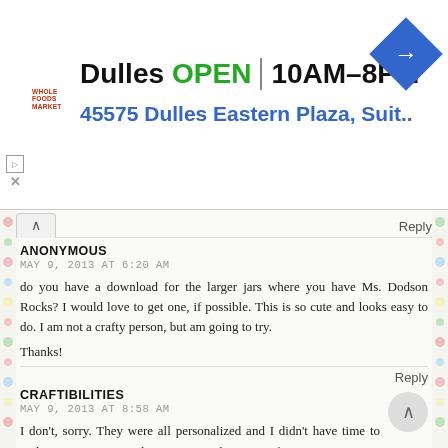[Figure (screenshot): Advertisement banner for Whole Foods Market at Dulles. Shows store name 'Dulles', green 'OPEN' text, hours '10AM–8PM', address '45575 Dulles Eastern Plaza, Suit...' in blue, and a blue navigation diamond icon. Small red Whole Foods Market logo on left.]
Reply
ANONYMOUS
MAY 9, 2013 AT 6:20 AM
do you have a download for the larger jars where you have Ms. Dodson Rocks? I would love to get one, if possible. This is so cute and looks easy to do. I am not a crafty person, but am going to try.
Thanks!
Reply
CRAFTIBILITIES
MAY 9, 2013 AT 8:58 AM
I don't, sorry. They were all personalized and I didn't have time to make a generic one without a name. Those were from two years ago. I